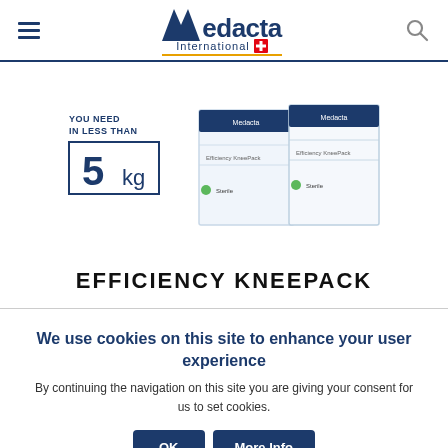Medacta International
[Figure (photo): Product image of Efficiency KneePack with text 'YOU NEED IN LESS THAN 5 kg' on the left and two white boxes on the right]
EFFICIENCY KNEEPACK
We use cookies on this site to enhance your user experience
By continuing the navigation on this site you are giving your consent for us to set cookies.
OK  More Info